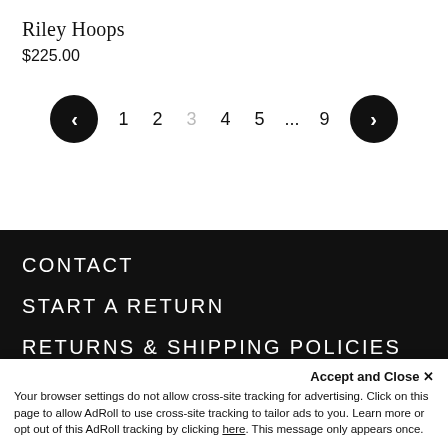Riley Hoops
$225.00
[Figure (other): Pagination controls with previous arrow, page numbers 1, 2, 3 (current, greyed), 4, 5, ellipsis, 9, and next arrow]
CONTACT
START A RETURN
RETURNS & SHIPPING POLICIES
PRIVACY
Accept and Close ✕
Your browser settings do not allow cross-site tracking for advertising. Click on this page to allow AdRoll to use cross-site tracking to tailor ads to you. Learn more or opt out of this AdRoll tracking by clicking here. This message only appears once.